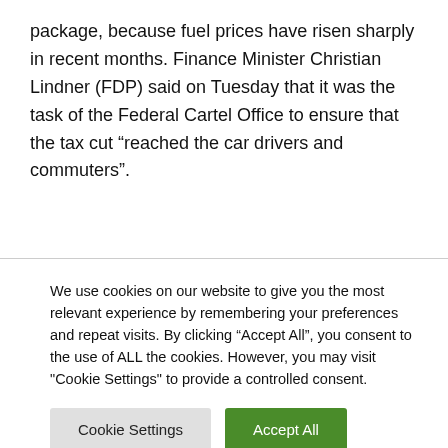package, because fuel prices have risen sharply in recent months. Finance Minister Christian Lindner (FDP) said on Tuesday that it was the task of the Federal Cartel Office to ensure that the tax cut “reached the car drivers and commuters”.
We use cookies on our website to give you the most relevant experience by remembering your preferences and repeat visits. By clicking “Accept All”, you consent to the use of ALL the cookies. However, you may visit "Cookie Settings" to provide a controlled consent.